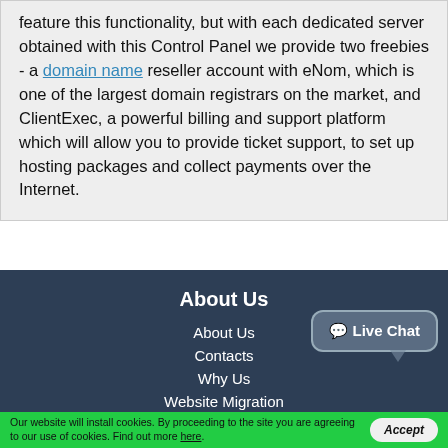feature this functionality, but with each dedicated server obtained with this Control Panel we provide two freebies - a domain name reseller account with eNom, which is one of the largest domain registrars on the market, and ClientExec, a powerful billing and support platform which will allow you to provide ticket support, to set up hosting packages and collect payments over the Internet.
About Us
About Us
Contacts
Why Us
Website Migration
Hosting Platform
[Figure (other): Live Chat button bubble widget]
Our website will install cookies. By proceeding to the site you are agreeing to our use of cookies. Find out more here.